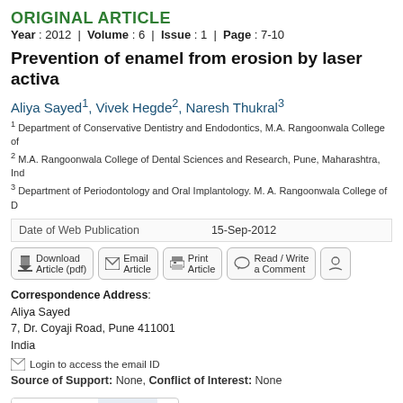ORIGINAL ARTICLE
Year : 2012 | Volume : 6 | Issue : 1 | Page : 7-10
Prevention of enamel from erosion by laser activa
Aliya Sayed1, Vivek Hegde2, Naresh Thukral3
1 Department of Conservative Dentistry and Endodontics, M.A. Rangoonwala College of
2 M.A. Rangoonwala College of Dental Sciences and Research, Pune, Maharashtra, Ind
3 Department of Periodontology and Oral Implantology. M. A. Rangoonwala College of D
Date of Web Publication   15-Sep-2012
[Figure (infographic): Action buttons row: Download Article (pdf), Email Article, Print Article, Read / Write a Comment, and partial button]
Correspondence Address:
Aliya Sayed
7, Dr. Coyaji Road, Pune 411001
India
Login to access the email ID
Source of Support: None, Conflict of Interest: None
[Figure (logo): CrossRef Citations Check badge]